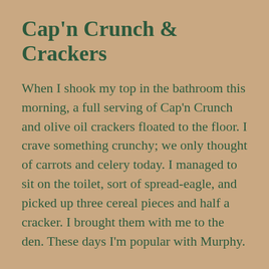Cap'n Crunch & Crackers
When I shook my top in the bathroom this morning, a full serving of Cap'n Crunch and olive oil crackers floated to the floor. I crave something crunchy; we only thought of carrots and celery today. I managed to sit on the toilet, sort of spread-eagle, and picked up three cereal pieces and half a cracker. I brought them with me to the den. These days I'm popular with Murphy.
I miss cooking. Tomorrow, Dave is going to put a roast in the slow cooker. I'm going to coach him, step by step. And I miss painting. I have a first coat of chalk paint on some chairs and a